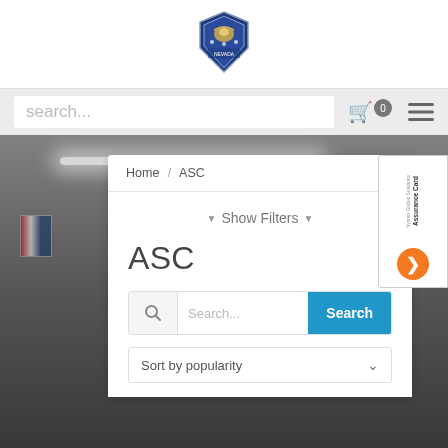[Figure (logo): Police/law enforcement shield badge logo in blue and silver]
search...
Home / ASC
▼ Show Filters ▼
ASC
Search...
Sort by popularity
[Figure (screenshot): Sysnet Global Solutions Assurance Card promotional banner on right side]